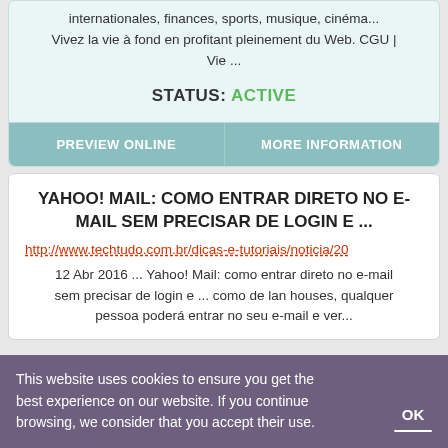internationales, finances, sports, musique, cinéma... Vivez la vie à fond en profitant pleinement du Web. CGU | Vie ...
STATUS: ACTIVE
PREVIEW ONLINE
MORE INFORMATION
YAHOO! MAIL: COMO ENTRAR DIRETO NO E-MAIL SEM PRECISAR DE LOGIN E ...
http://www.techtudo.com.br/dicas-e-tutoriais/noticia/20
12 Abr 2016 ... Yahoo! Mail: como entrar direto no e-mail sem precisar de login e ... como de lan houses, qualquer pessoa poderá entrar no seu e-mail e ver...
This website uses cookies to ensure you get the best experience on our website. If you continue browsing, we consider that you accept their use.